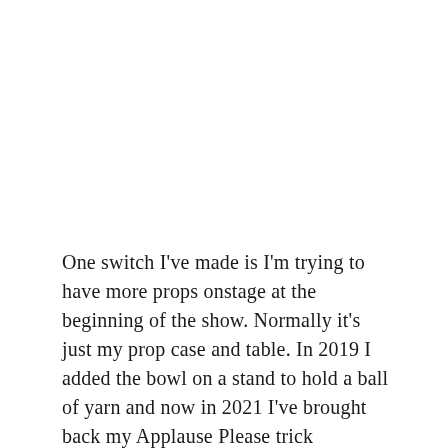One switch I've made is I'm trying to have more props onstage at the beginning of the show. Normally it's just my prop case and table. In 2019 I added the bowl on a stand to hold a ball of yarn and now in 2021 I've brought back my Applause Please trick (applause sign).